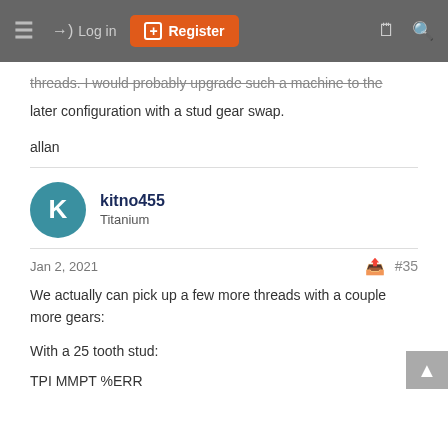≡  →) Log in  [+] Register  🗒 🔍
threads. I would probably upgrade such a machine to the later configuration with a stud gear swap.
allan
kitno455
Titanium
Jan 2, 2021  #35
We actually can pick up a few more threads with a couple more gears:
With a 25 tooth stud:
TPI MMPT %ERR